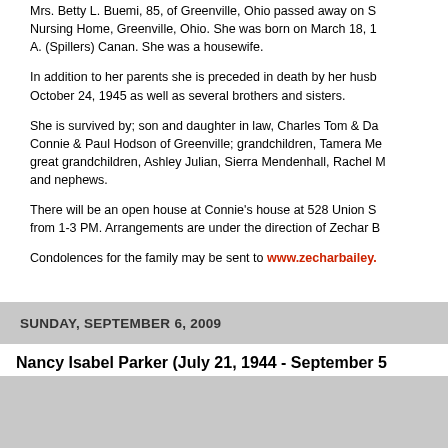Mrs. Betty L. Buemi, 85, of Greenville, Ohio passed away on S... Nursing Home, Greenville, Ohio. She was born on March 18, 1... A. (Spillers) Canan. She was a housewife.
In addition to her parents she is preceded in death by her husb... October 24, 1945 as well as several brothers and sisters.
She is survived by; son and daughter in law, Charles Tom & Da... Connie & Paul Hodson of Greenville; grandchildren, Tamera Me... great grandchildren, Ashley Julian, Sierra Mendenhall, Rachel ... and nephews.
There will be an open house at Connie's house at 528 Union S... from 1-3 PM. Arrangements are under the direction of Zechar B...
Condolences for the family may be sent to www.zecharbailey...
SUNDAY, SEPTEMBER 6, 2009
Nancy Isabel Parker (July 21, 1944 - September 5...